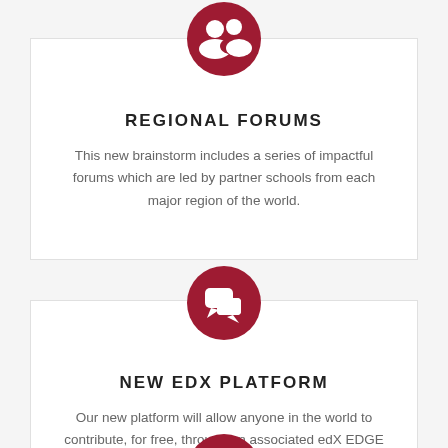[Figure (illustration): Dark red circle icon with white silhouette of two people (group/users icon) for Regional Forums section]
REGIONAL FORUMS
This new brainstorm includes a series of impactful forums which are led by partner schools from each major region of the world.
[Figure (illustration): Dark red circle icon with white speech/chat bubbles icon for New edX Platform section]
NEW EDX PLATFORM
Our new platform will allow anyone in the world to contribute, for free, through an associated edX EDGE massive open online course or engage in person at the local forum.
[Figure (illustration): Partially visible dark red circle icon at bottom of page]